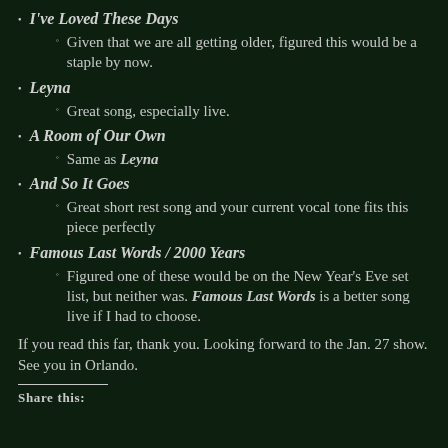I've Loved These Days — Given that we are all getting older, figured this would be a staple by now.
Leyna — Great song, especially live.
A Room of Our Own — Same as Leyna
And So It Goes — Great short rest song and your current vocal tone fits this piece perfectly
Famous Last Words / 2000 Years — Figured one of these would be on the New Year's Eve set list, but neither was. Famous Last Words is a better song live if I had to choose.
If you read this far, thank you. Looking forward to the Jan. 27 show. See you in Orlando.
Share this: